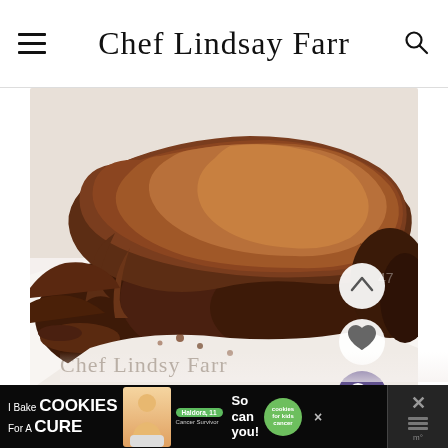Chef Lindsay Farr
[Figure (photo): Close-up photo of a chocolate bundt cake with thick chocolate ganache frosting dripping down the sides, on a white surface]
[Figure (other): Partial watermark text 'Chef Lindsy Farr' overlaid on bottom of image]
[Figure (infographic): Advertisement banner: 'I Bake COOKIES For A CURE' with person photo, Haldora 11 Cancer Survivor badge, 'So can you!' text, and Cookies for Kids Cancer logo]